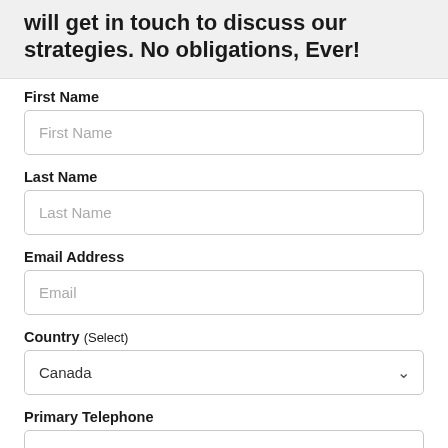will get in touch to discuss our strategies. No obligations, Ever!
First Name
First Name (placeholder)
Last Name
Last Name (placeholder)
Email Address
Email (placeholder)
Country (Select)
Canada
Primary Telephone
+1